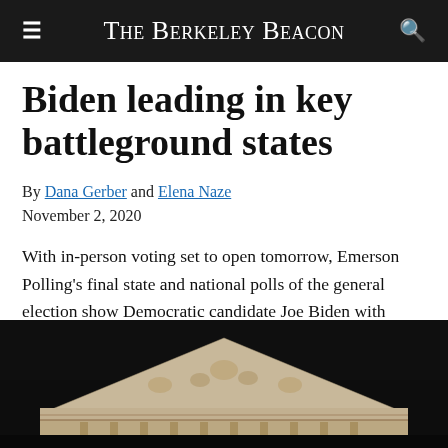The Berkeley Beacon
Biden leading in key battleground states
By Dana Gerber and Elena Naze
November 2, 2020
With in-person voting set to open tomorrow, Emerson Polling's final state and national polls of the general election show Democratic candidate Joe Biden with strong leads over incumbent President Donald...
[Figure (photo): Photo of a classical building pediment (likely the U.S. Supreme Court) against a dark background, cropped to show the triangular roof structure with ornate stone carvings.]